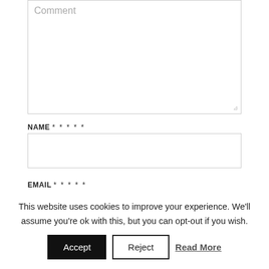Comment
NAME * * * * *
EMAIL * * * * *
This website uses cookies to improve your experience. We'll assume you're ok with this, but you can opt-out if you wish.
Accept
Reject
Read More